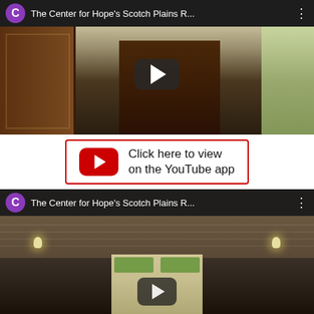[Figure (screenshot): YouTube video thumbnail showing interior room of Center for Hope's Scotch Plains location. Purple 'C' avatar icon, title 'The Center for Hope's Scotch Plains R...', play button in center. Room with wooden doors on left, TV/desk in center, window on right, dark interior.]
[Figure (screenshot): YouTube app button/CTA with red YouTube play icon on left inside a red-bordered rectangle. Text reads 'Click here to view on the YouTube app'.]
[Figure (screenshot): Second YouTube video thumbnail showing interior foyer/entrance of Center for Hope's Scotch Plains location. Purple 'C' avatar icon, title 'The Center for Hope's Scotch Plains R...', play button at bottom. Arched ceiling with wood strips, bright doorway/windows in center, wall sconces on either side.]